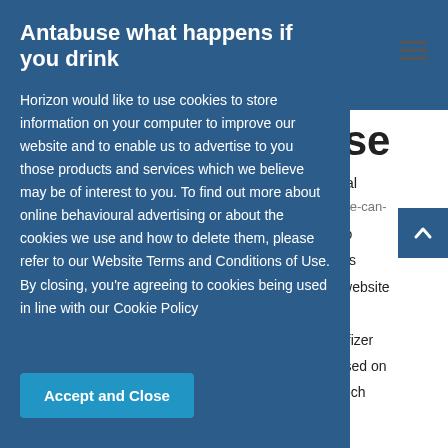Antabuse what happens if you drink
Horizon would like to use cookies to store information on your computer to improve our website and to enable us to advertise to you those products and services which we believe may be of interest to you. To find out more about online behavioural advertising or about the cookies we use and how to delete them, please refer to our Website Terms and Conditions of Use. By closing, you’re agreeing to cookies being used in line with our Cookie Policy
Accept and Close
use
toccal
/where-can-
es no
ments
our website
he Pfizer
focused on
oNTech
Authorization (EUA) to prevent COVID-19 caused by